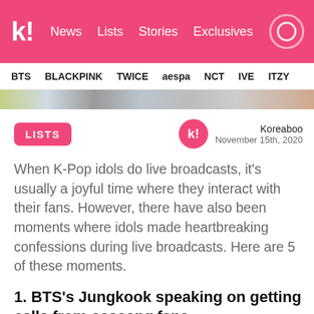k! News Lists Stories Exclusives
BTS BLACKPINK TWICE aespa NCT IVE ITZY
[Figure (photo): Partial image strip showing K-pop related imagery]
LISTS
Koreaboo
November 15th, 2020
When K-Pop idols do live broadcasts, it's usually a joyful time where they interact with their fans. However, there have also been moments where idols made heartbreaking confessions during live broadcasts. Here are 5 of these moments.
1. BTS's Jungkook speaking on getting calls from sasaeng fans